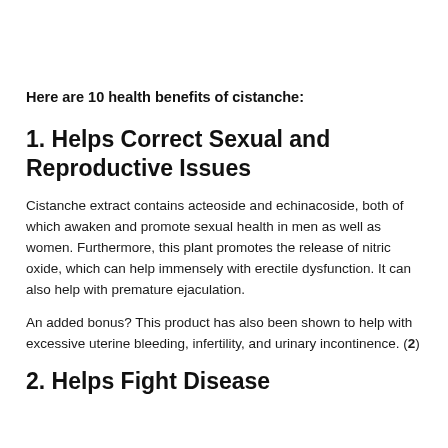Here are 10 health benefits of cistanche:
1. Helps Correct Sexual and Reproductive Issues
Cistanche extract contains acteoside and echinacoside, both of which awaken and promote sexual health in men as well as women. Furthermore, this plant promotes the release of nitric oxide, which can help immensely with erectile dysfunction. It can also help with premature ejaculation.
An added bonus? This product has also been shown to help with excessive uterine bleeding, infertility, and urinary incontinence. (2)
2. Helps Fight Disease